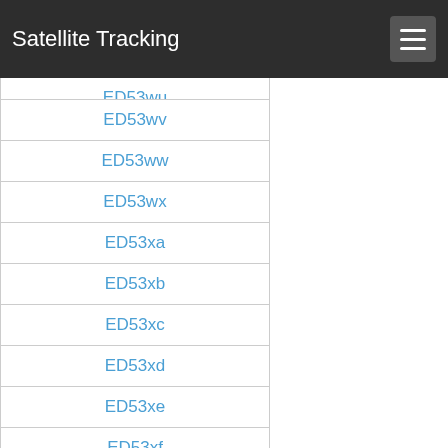Satellite Tracking
ED53wu
ED53wv
ED53ww
ED53wx
ED53xa
ED53xb
ED53xc
ED53xd
ED53xe
ED53xf
ED53xg
ED53xh
ED53xi
ED53xj
ED53xk
ED53xl
ED53xm
ED53xn